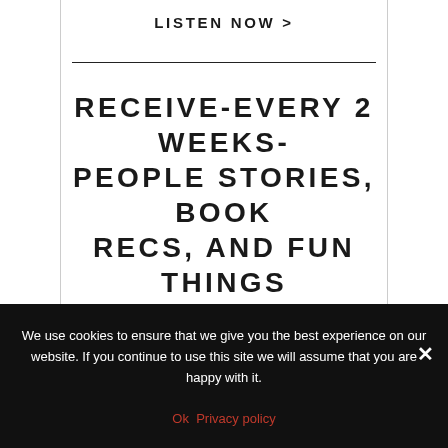LISTEN NOW >
RECEIVE-EVERY 2 WEEKS- PEOPLE STORIES, BOOK RECS, AND FUN THINGS TO DO AND EXPLORE!
YOUR EMAIL ADDRESS
We use cookies to ensure that we give you the best experience on our website. If you continue to use this site we will assume that you are happy with it.
Ok  Privacy policy